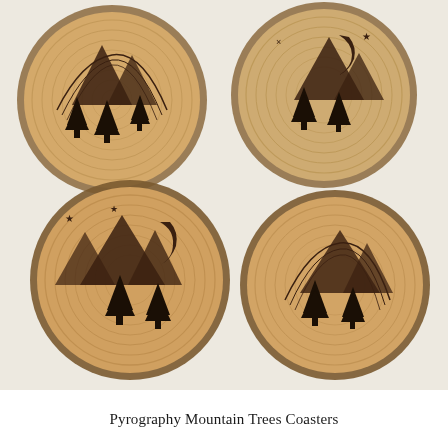[Figure (photo): Four round wood slice coasters with pyrography (wood burning) artwork. Each coaster shows mountains and pine trees burned into the natural wood grain. Top-left coaster has a sun rising behind mountains with three pine trees. Top-right coaster has mountains with a crescent moon, star, and X symbols with pine trees. Bottom-left coaster shows mountains with a crescent moon, stars, and two pine trees. Bottom-right coaster has mountains with a sun arc and pine trees. All coasters display visible wood rings and dark bark edges.]
Pyrography Mountain Trees Coasters